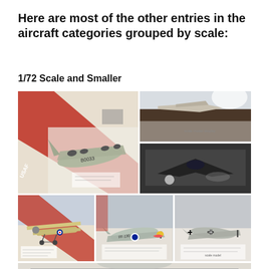Here are most of the other entries in the aircraft categories grouped by scale:
1/72 Scale and Smaller
[Figure (photo): Grid of scale model aircraft photos showing various 1/72 scale and smaller models on display tables: large B-29 bomber model (main large photo), two small detail photos on right, and three bottom row photos showing WWII fighter models including P-51 Mustang and other aircraft.]